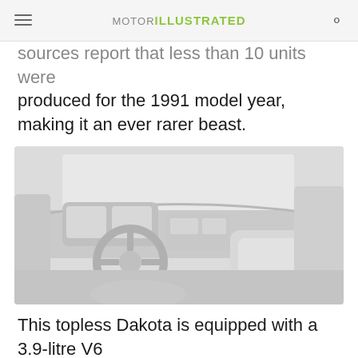MOTOR ILLUSTRATED
sources report that less than 10 units were produced for the 1991 model year, making it an ever rarer beast.
[Figure (photo): Interior view of a Dodge Dakota truck cab, showing dashboard, steering wheel, and front seats in a light/white color scheme.]
This topless Dakota is equipped with a 3.9-litre V6